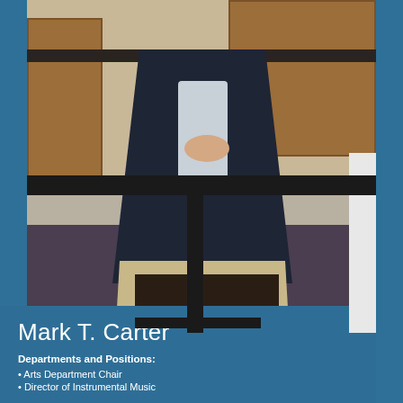[Figure (photo): A man in a navy blazer and khaki pants sitting casually in a room with wood cabinets, leaning against a countertop with a music stand in the foreground.]
Mark T. Carter
Departments and Positions:
• Arts Department Chair
• Director of Instrumental Music